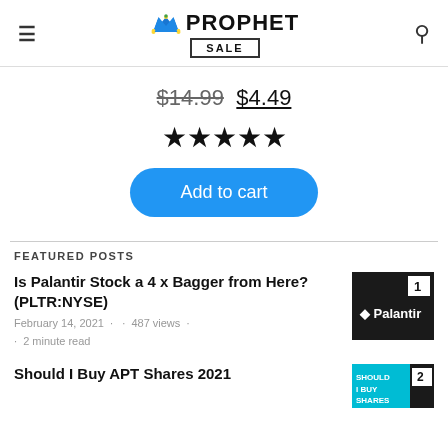PROPHET SALE
$14.99 $4.49
[Figure (other): Five filled black star rating icons]
Add to cart
FEATURED POSTS
Is Palantir Stock a 4 x Bagger from Here? (PLTR:NYSE)
February 14, 2021 · 487 views · 2 minute read
[Figure (photo): Palantir article thumbnail with number 1 badge, dark background with Palantir logo]
Should I Buy APT Shares 2021
[Figure (photo): APT Shares article thumbnail with number 2 badge, teal background with SHOULD SHARES text]